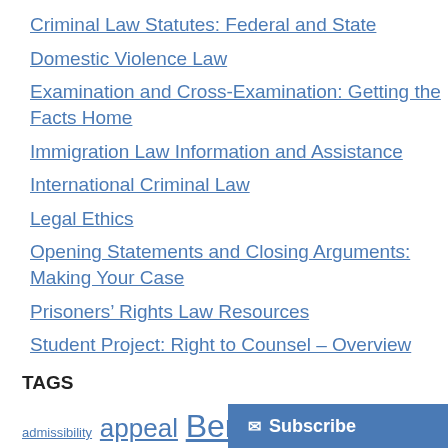Criminal Law Statutes: Federal and State
Domestic Violence Law
Examination and Cross-Examination: Getting the Facts Home
Immigration Law Information and Assistance
International Criminal Law
Legal Ethics
Opening Statements and Closing Arguments: Making Your Case
Prisoners’ Rights Law Resources
Student Project: Right to Counsel – Overview
TAGS
admissibility appeal Bennett L. Gershman Brady violation constitutional rights conviction crimes against humanity criminal defense criminal justice